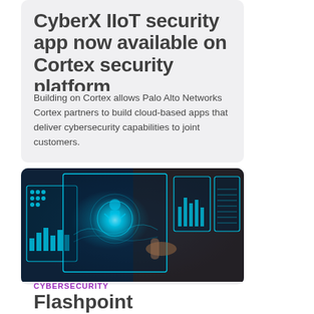CyberX IIoT security app now available on Cortex security platform
Building on Cortex allows Palo Alto Networks Cortex partners to build cloud-based apps that deliver cybersecurity capabilities to joint customers.
[Figure (photo): Person touching holographic cybersecurity interface panels showing charts, maps, and data visualizations in blue/cyan tones]
CYBERSECURITY
Flashpoint